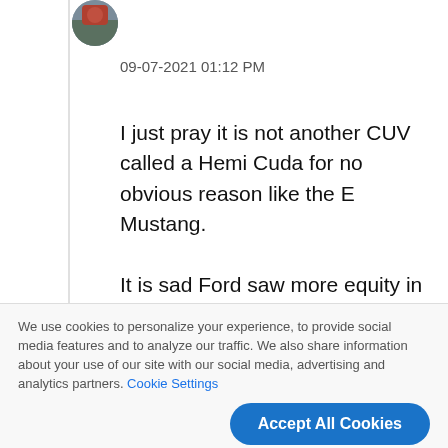[Figure (photo): User avatar photo, circular crop, showing outdoor scene]
09-07-2021 01:12 PM
I just pray it is not another CUV called a Hemi Cuda for no obvious reason like the E Mustang.

It is sad Ford saw more equity in the Mustang name than Ford. As for the French who knows what they will do.
We use cookies to personalize your experience, to provide social media features and to analyze our traffic. We also share information about your use of our site with our social media, advertising and analytics partners. Cookie Settings
Accept All Cookies